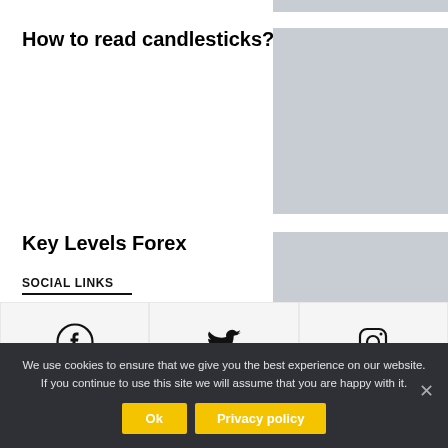[Figure (other): Gray placeholder image at top right]
How to read candlesticks?
[Figure (photo): Gray placeholder image for How to read candlesticks article]
Key Levels Forex
[Figure (photo): Gray placeholder image for Key Levels Forex article]
SOCIAL LINKS
[Figure (other): Social media icons: Facebook, Twitter, Instagram]
We use cookies to ensure that we give you the best experience on our website. If you continue to use this site we will assume that you are happy with it.